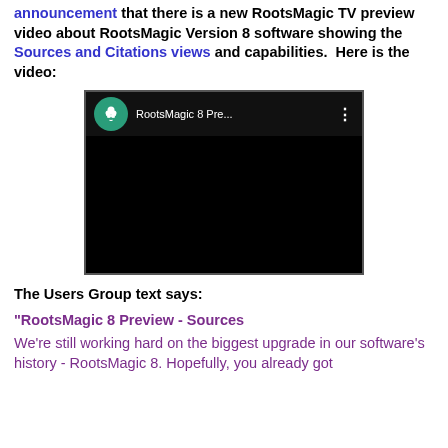announcement that there is a new RootsMagic TV preview video about RootsMagic Version 8 software showing the Sources and Citations views and capabilities.  Here is the video:
[Figure (screenshot): A YouTube-style video embed showing a black screen with a RootsMagic logo (green circle with white tree) and title 'RootsMagic 8 Pre...' with a three-dot menu button.]
The Users Group text says:
"RootsMagic 8 Preview - Sources
We're still working hard on the biggest upgrade in our software's history - RootsMagic 8. Hopefully, you already got